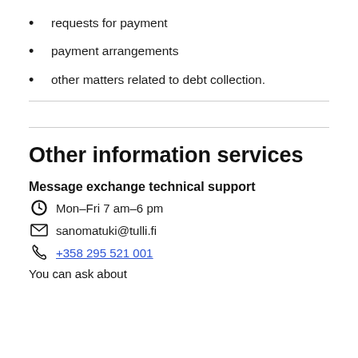requests for payment
payment arrangements
other matters related to debt collection.
Other information services
Message exchange technical support
Mon–Fri 7 am–6 pm
sanomatuki@tulli.fi
+358 295 521 001
You can ask about